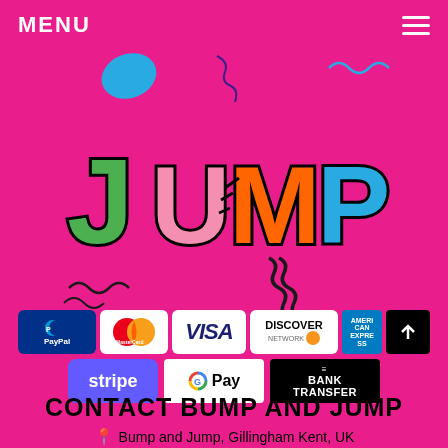MENU
[Figure (logo): Colorful cartoon 'JUMP' logo with letters in green, pink, orange, blue with black outline on magenta background, with confetti and spring decorations]
[Figure (infographic): Payment method logos: PayPal, MasterCard, Visa, Discover Network, American Express, scroll-up button, Stripe, Google Pay, Bank Transfer]
CONTACT BUMP AND JUMP
Bump and Jump, Gillingham Kent, UK